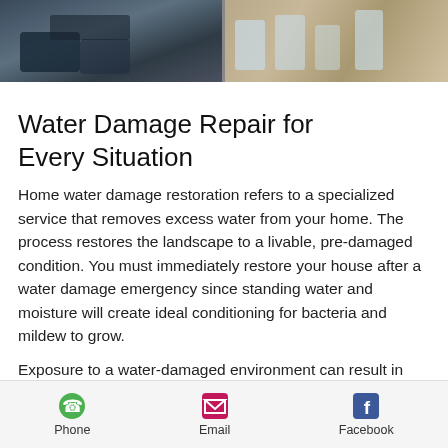[Figure (photo): Two side-by-side cropped photos at top: left shows blue equipment/machinery on floor, right shows water damage with water bottles or wet surface]
Water Damage Repair for Every Situation
Home water damage restoration refers to a specialized service that removes excess water from your home. The process restores the landscape to a livable, pre-damaged condition. You must immediately restore your house after a water damage emergency since standing water and moisture will create ideal conditioning for bacteria and mildew to grow.
Exposure to a water-damaged environment can result in illnesses and adverse health effects since stagnant water breeds bacteria. Water damage repair can be a challenging task and does not entail merely drying off visible water. Many
Phone   Email   Facebook